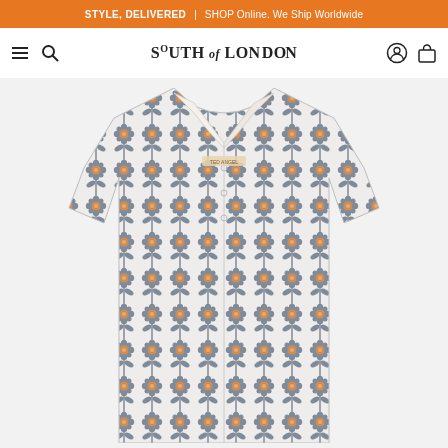STYLE, DELIVERED | SHOP Online. We Ship Worldwide
SOUTH OF LONDON
[Figure (photo): A floral-patterned long-sleeve button-up shirt laid flat on a light grey background. The shirt has a repeating pattern of orange/rust round flowers with grey-blue leaves and stems on a white/cream background. The shirt has a pointed collar and a branded label visible at the chest.]